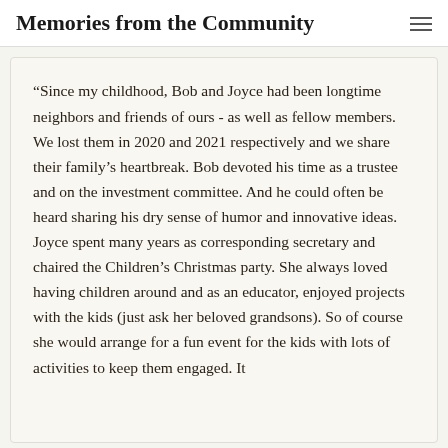Memories from the Community
“Since my childhood, Bob and Joyce had been longtime neighbors and friends of ours - as well as fellow members. We lost them in 2020 and 2021 respectively and we share their family’s heartbreak. Bob devoted his time as a trustee and on the investment committee. And he could often be heard sharing his dry sense of humor and innovative ideas. Joyce spent many years as corresponding secretary and chaired the Children’s Christmas party. She always loved having children around and as an educator, enjoyed projects with the kids (just ask her beloved grandsons). So of course she would arrange for a fun event for the kids with lots of activities to keep them engaged. It